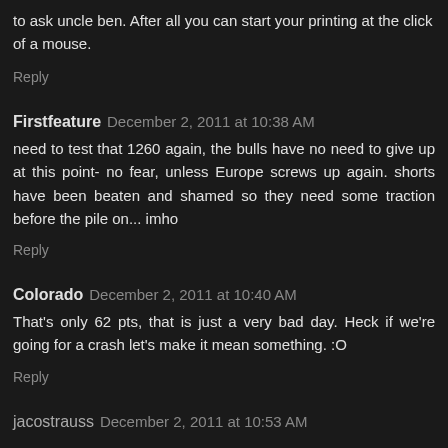to ask uncle ben. After all you can start your printing at the click of a mouse.
Reply
Firstfeature  December 2, 2011 at 10:38 AM
need to test that 1260 again, the bulls have no need to give up at this point- no fear, unless Europe screws up again. shorts have been beaten and shamed so they need some traction before the pile on... imho
Reply
Colorado  December 2, 2011 at 10:40 AM
That's only 62 pts, that is just a very bad day. Heck if we're going for a crash let's make it mean something. :O
Reply
jacostrauss  December 2, 2011 at 10:53 AM